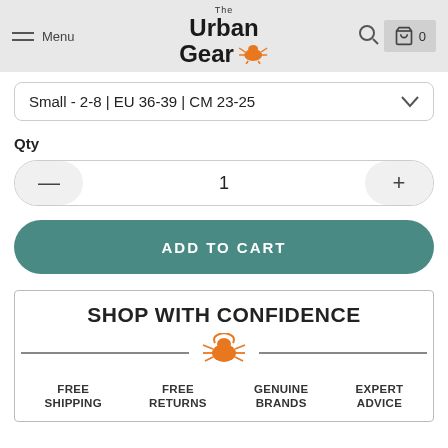Menu | The Urban Gear
Small - 2-8 | EU 36-39 | CM 23-25
Qty
1
ADD TO CART
[Figure (logo): Shop with Confidence banner with The Urban Gear logo bug, FREE SHIPPING, FREE RETURNS, GENUINE BRANDS, EXPERT ADVICE columns]